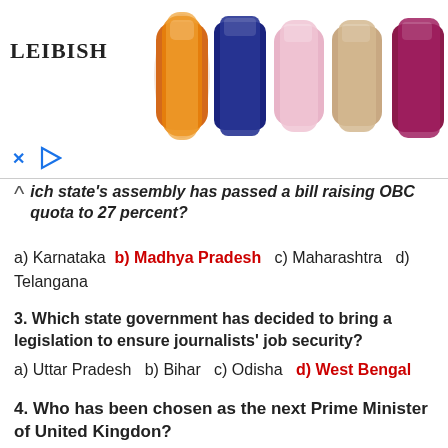[Figure (illustration): Advertisement banner showing the LEIBISH logo on the left and a row of colorful gemstones (orange, blue, pink, beige/brown, and red/purple) on the right, with a close and play button below.]
...ich state's assembly has passed a bill raising OBC quota to 27 percent?
a) Karnataka  b) Madhya Pradesh  c) Maharashtra  d) Telangana
3. Which state government has decided to bring a legislation to ensure journalists' job security?
a) Uttar Pradesh  b) Bihar  c) Odisha  d) West Bengal
4. Who has been chosen as the next Prime Minister of United Kingdon?
a) Adward Luke  b) Jeremy Hunt  c) Boris Johnson  d) Karl Parkinson
5. Binay Bhusam Harichandan has taken charge as the Governor...